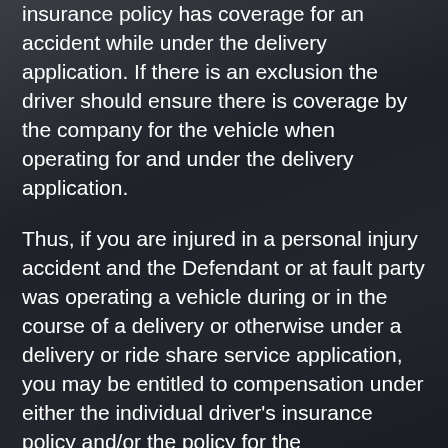insurance policy has coverage for an accident while under the delivery application. If there is an exclusion the driver should ensure there is coverage by the company for the vehicle when operating for and under the delivery application.
Thus, if you are injured in a personal injury accident and the Defendant or at fault party was operating a vehicle during or in the course of a delivery or otherwise under a delivery or ride share service application, you may be entitled to compensation under either the individual driver's insurance policy and/or the policy for the employer/delivery/rideshare application. The key to coverage may rely on the delivery application and whether the driver was in the course of a ride share or delivery. Any third party witnesses to the accident are